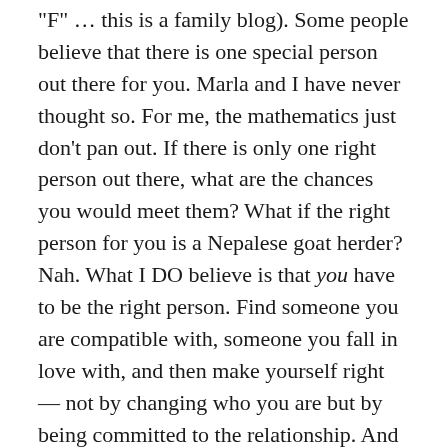"F" ... this is a family blog). Some people believe that there is one special person out there for you. Marla and I have never thought so. For me, the mathematics just don't pan out. If there is only one right person out there, what are the chances you would meet them? What if the right person for you is a Nepalese goat herder? Nah. What I DO believe is that you have to be the right person. Find someone you are compatible with, someone you fall in love with, and then make yourself right — not by changing who you are but by being committed to the relationship. And there it is, the second "C".
Commitment. Be committed to the relationship. There will be hard times. Some